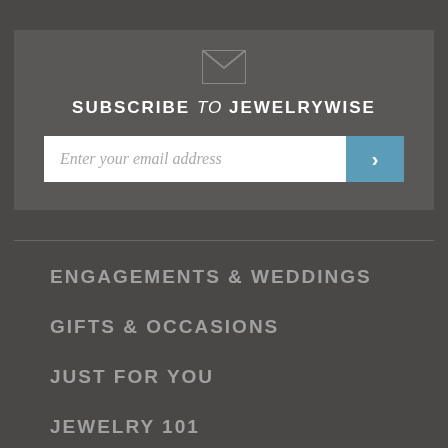[Figure (other): Envelope/mail icon SVG indicating email subscription]
SUBSCRIBE to JEWELRYWISE
Enter your email address [input field with submit button]
ENGAGEMENTS & WEDDINGS
GIFTS & OCCASIONS
JUST FOR YOU
JEWELRY 101
TOOLS & RESOURCES